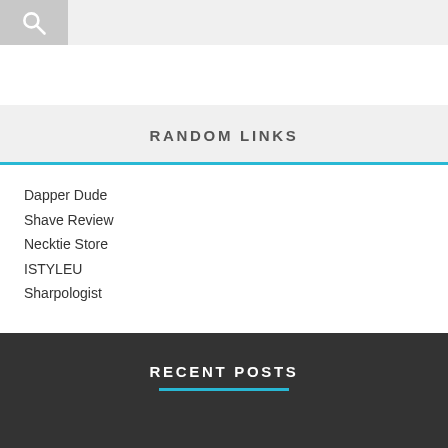Search bar with icon
RANDOM LINKS
Dapper Dude
Shave Review
Necktie Store
ISTYLEU
Sharpologist
RECENT POSTS